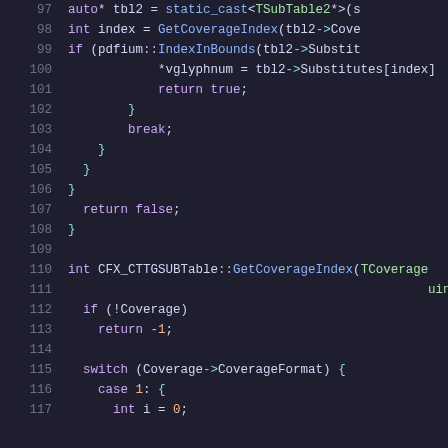Code snippet lines 97-117, C++ source code for CFX_CTTGSUBTable functions
97: auto* tbl2 = static_cast<TSubTable2*>(s
98: int index = GetCoverageIndex(tbl2->Cove
99: if (pdfium::IndexInBounds(tbl2->Substit
100: *vglyphnum = tbl2->Substitutes[index]
101: return true;
102: }
103: break;
104: }
105: }
106: }
107: return false;
108: }
109: (blank)
110: int CFX_CTTGSUBTable::GetCoverageIndex(TCoverage
111: uint32_t
112: if (!Coverage)
113: return -1;
114: (blank)
115: switch (Coverage->CoverageFormat) {
116: case 1: {
117: int i = 0;